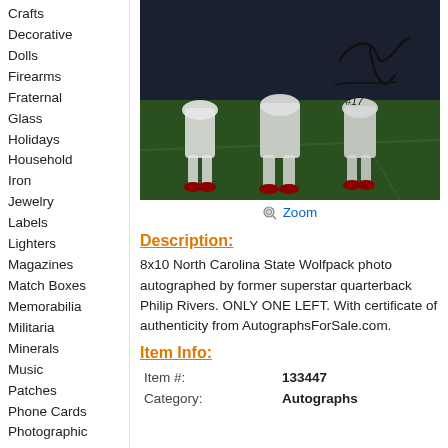Crafts
Decorative
Dolls
Firearms
Fraternal
Glass
Holidays
Household
Iron
Jewelry
Labels
Lighters
Magazines
Match Boxes
Memorabilia
Militaria
Minerals
Music
Patches
Phone Cards
Photographic
Postcards
Pottery & Glass
Shells
Space & Fantasy
Sports
Stamps
Stones
Tea bags
Toys
[Figure (photo): Football game action photo, autographed by Philip Rivers, showing players in white uniforms on a green field. Signature and #17 visible.]
Zoom
Description:
8x10 North Carolina State Wolfpack photo autographed by former superstar quarterback Philip Rivers. ONLY ONE LEFT. With certificate of authenticity from AutographsForSale.com.
Item Info:
| Item #: | 133447 |
| Category: | Autographs |